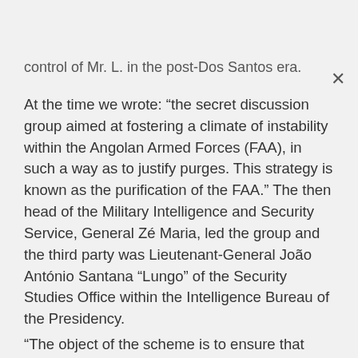control of Mr. L. in the post-Dos Santos era.
At the time we wrote: “the secret discussion group aimed at fostering a climate of instability within the Angolan Armed Forces (FAA), in such a way as to justify purges. This strategy is known as the purification of the FAA.” The then head of the Military Intelligence and Security Service, General Zé Maria, led the group and the third party was Lieutenant-General João António Santana “Lungo” of the Security Studies Office within the Intelligence Bureau of the Presidency.
“The object of the scheme is to ensure that generals